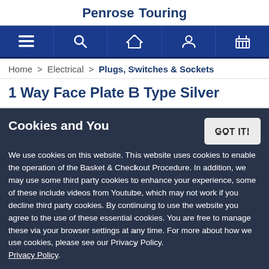Penrose Touring
[Figure (other): Navigation bar with icons: hamburger menu, search, home, user profile, basket]
Home > Electrical > Plugs, Switches & Sockets
1 Way Face Plate B Type Silver
Cookies and You
We use cookies on this website. This website uses cookies to enable the operation of the Basket & Checkout Procedure. In addition, we may use some third party cookies to enhance your experience, some of these include videos from Youtube, which may not work if you decline third party cookies. By continuing to use the website you agree to the use of these essential cookies. You are free to manage these via your browser settings at any time. For more about how we use cookies, please see our Privacy Policy. Privacy Policy.